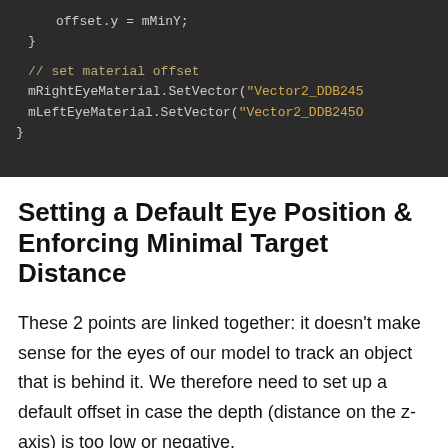[Figure (screenshot): Code block showing: offset.y = mMinY; }, // set material offset, mRightEyeMaterial.SetVector("Vector2_DDB245..., mLeftEyeMaterial.SetVector("Vector2_DDB245O..., }]
Setting a Default Eye Position & Enforcing Minimal Target Distance
These 2 points are linked together: it doesn't make sense for the eyes of our model to track an object that is behind it. We therefore need to set up a default offset in case the depth (distance on the z-axis) is too low or negative.